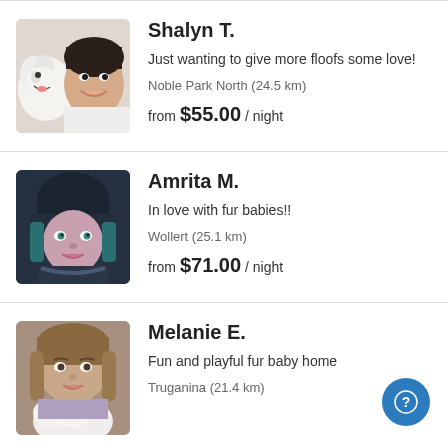[Figure (photo): Profile photo of Shalyn T. with a white fluffy dog]
Shalyn T.
Just wanting to give more floofs some love!
Noble Park North (24.5 km)
from $55.00 / night
[Figure (photo): Profile photo of Amrita M. wearing a dark beanie hat]
Amrita M.
In love with fur babies!!
Wollert (25.1 km)
from $71.00 / night
[Figure (photo): Profile photo of Melanie E. with a white puppy]
Melanie E.
Fun and playful fur baby home
Truganina (21.4 km)